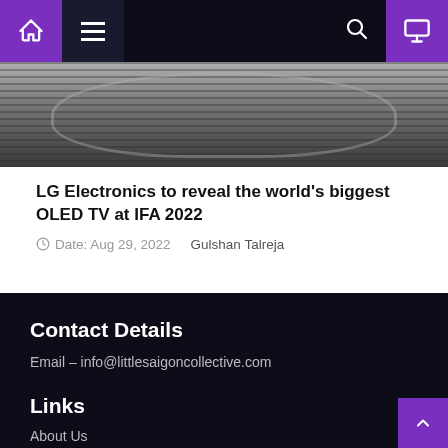Navigation bar with home, menu, search, and monitor icons
[Figure (photo): Top portion of a large OLED TV screen, showing curved edges and reflective surface in dark tones]
LG Electronics to reveal the world's biggest OLED TV at IFA 2022
Date: Aug 29, 2022   Gulshan Talreja
Contact Details
Email – info@littlesaigoncollective.com
Links
About Us